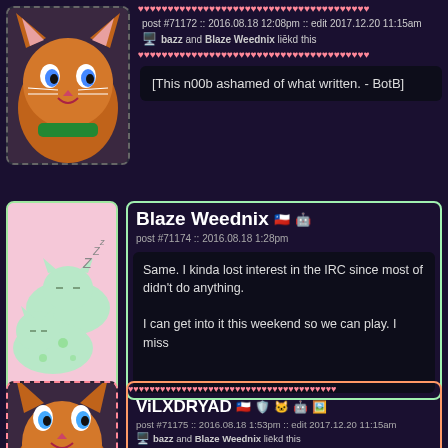[Figure (screenshot): Forum post partial view. Top post shows a cartoon cat avatar with post #71172, 2016.08.18 12:08pm, edit 2017.12.20 11:15am, liked by bazz and Blaze Weednix. Content: [This n00b ashamed of what written. - BotB]. Second post by Blaze Weednix with pusheen cats avatar, post #71174, 2016.08.18 1:28pm, content about losing interest in IRC and playing this weekend. Third post by ViLXDRYAD, post #71175, 2016.08.18 1:53pm, edit 2017.12.20 11:15am, liked by bazz and Blaze Weednix, content [This n00b ashamed of what written. - BotB].]